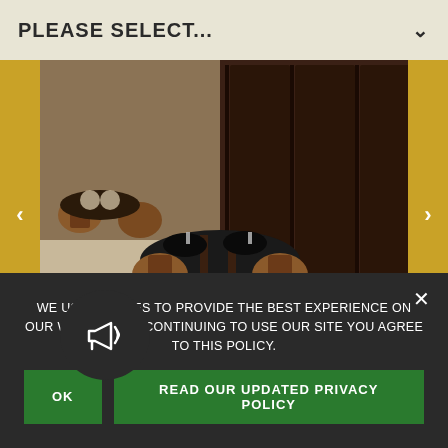PLEASE SELECT...
[Figure (photo): Interior of a French-style restaurant with wooden chairs, tables set with black napkins and glassware, dark wood paneled walls and doors]
OPENINGS
RESTAURANTS OPEN FOR DINING ROOM & PATIO SEATING: D.C. METRO
WE USE COOKIES TO PROVIDE THE BEST EXPERIENCE ON OUR WEBSITE. BY CONTINUING TO USE OUR SITE YOU AGREE TO THIS POLICY.
OK
READ OUR UPDATED PRIVACY POLICY